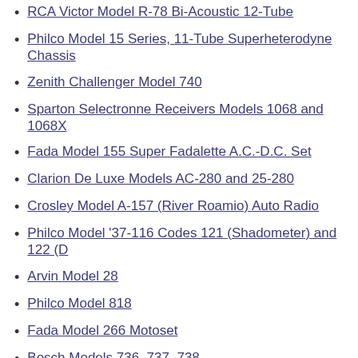RCA Victor Model R-78 Bi-Acoustic 12-Tube
Philco Model 15 Series, 11-Tube Superheterodyne Chassis
Zenith Challenger Model 740
Sparton Selectronne Receivers Models 1068 and 1068X
Fada Model 155 Super Fadalette A.C.-D.C. Set
Clarion De Luxe Models AC-280 and 25-280
Crosley Model A-157 (River Roamio) Auto Radio
Philco Model '37-116 Codes 121 (Shadometer) and 122 (D...
Arvin Model 28
Philco Model 818
Fada Model 266 Motoset
Bosch Models 736, 737, 738